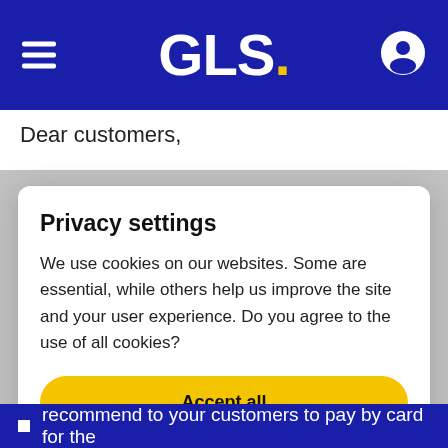[Figure (logo): GLS logo with hamburger menu and user icon on blue header background]
Dear customers,
the complex and confusing situation associated with the spreading of COVID-19 is indeed placing online
Privacy settings
We use cookies on our websites. Some are essential, while others help us improve the site and your user experience. Do you agree to the use of all cookies?
Accept all
Detailed settings
recommend to your customers to pay by card for the